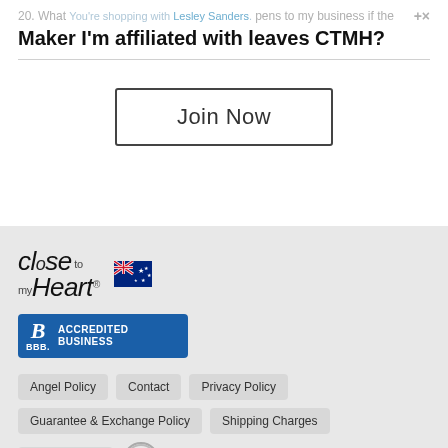You're shopping with Lesley Sanders.
20. What happens to my business if the Maker I'm affiliated with leaves CTMH?
[Figure (other): Join Now button — a rectangle with border and text 'Join Now']
[Figure (logo): Close To My Heart logo with Australian flag]
[Figure (logo): BBB Accredited Business badge]
Angel Policy | Contact | Privacy Policy | Guarantee & Exchange Policy | Shipping Charges | Terms of Use